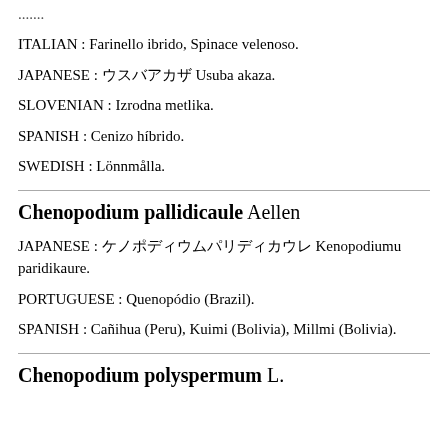ITALIAN :   Farinello ibrido, Spinace velenoso.
JAPANESE :  ウスバアカザ  Usuba akaza.
SLOVENIAN :  Izrodna metlika.
SPANISH :  Cenizo híbrido.
SWEDISH :  Lönnmålla.
Chenopodium pallidicaule Aellen
JAPANESE :  ケノポディウムパリジカウレ  Kenopodiumu paridikaure.
PORTUGUESE :   Quenopódio (Brazil).
SPANISH :  Cañihua (Peru), Kuimi (Bolivia), Millmi (Bolivia).
Chenopodium polyspermum L.